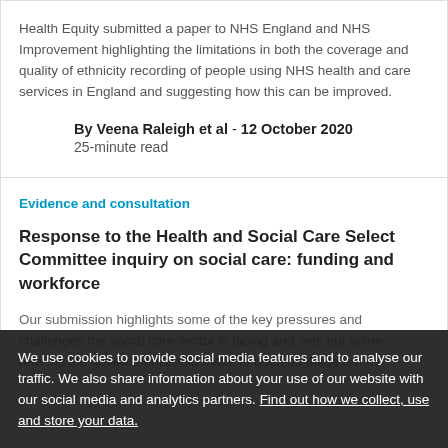Health Equity submitted a paper to NHS England and NHS Improvement highlighting the limitations in both the coverage and quality of ethnicity recording of people using NHS health and care services in England and suggesting how this can be improved.
By Veena Raleigh et al - 12 October 2020
25-minute read
Evidence and consultation
Response to the Health and Social Care Select Committee inquiry on social care: funding and workforce
Our submission highlights some of the key pressures and challenges the social care sector is facing and sets out some reforms the government could make to address these issues.
We use cookies to provide social media features and to analyse our traffic. We also share information about your use of our website with our social media and analytics partners. Find out how we collect, use and store your data.